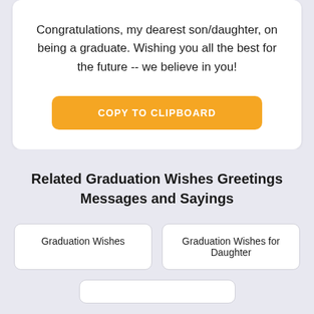Congratulations, my dearest son/daughter, on being a graduate. Wishing you all the best for the future -- we believe in you!
COPY TO CLIPBOARD
Related Graduation Wishes Greetings Messages and Sayings
Graduation Wishes
Graduation Wishes for Daughter